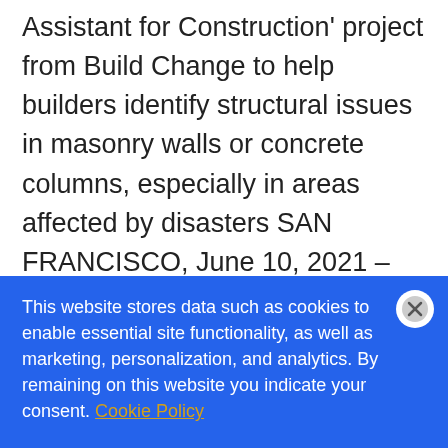Assistant for Construction' project from Build Change to help builders identify structural issues in masonry walls or concrete columns, especially in areas affected by disasters SAN FRANCISCO, June 10, 2021 – The Linux Foundation, the nonprofit organization enabling mass innovation through open [...]
This website stores data such as cookies to enable essential site functionality, as well as marketing, personalization, and analytics. By remaining on this website you indicate your consent. Cookie Policy